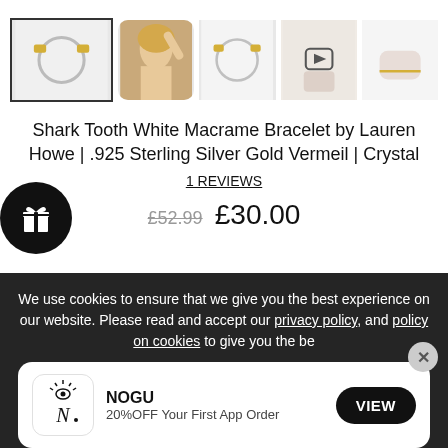[Figure (photo): Row of 5 product thumbnail images of the Shark Tooth White Macrame Bracelet. First image selected with border showing bracelet on white background. Second shows a woman model. Third shows bracelet alone. Fourth is a video thumbnail with play button. Fifth shows bracelet on wrist.]
Shark Tooth White Macrame Bracelet by Lauren Howe | .925 Sterling Silver Gold Vermeil | Crystal
1 REVIEWS
£52.99 £30.00
[Figure (illustration): Black circle with white gift/present icon]
We use cookies to ensure that we give you the best experience on our website. Please read and accept our privacy policy, and policy on cookies to give you the be
[Figure (logo): NOGU app logo — stylized N with eye crown motif]
NOGU
20%OFF Your First App Order
VIEW